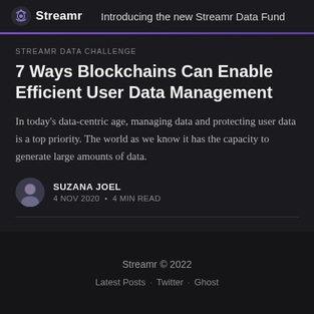Streamr · Introducing the new Streamr Data Fund
STREAMR DATA CHALLENGE
7 Ways Blockchains Can Enable Efficient User Data Management
In today’s data-centric age, managing data and protecting user data is a top priority. The world as we know it has the capacity to generate large amounts of data.
SUZANA JOEL
4 NOV 2020 • 4 MIN READ
Streamr © 2022
Latest Posts · Twitter · Ghost